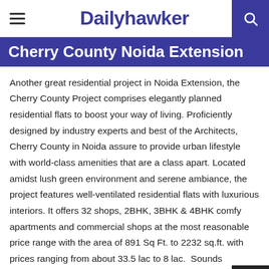Dailyhawker
Cherry County Noida Extension
Another great residential project in Noida Extension, the Cherry County Project comprises elegantly planned residential flats to boost your way of living. Proficiently designed by industry experts and best of the Architects, Cherry County in Noida assure to provide urban lifestyle with world-class amenities that are a class apart. Located amidst lush green environment and serene ambiance, the project features well-ventilated residential flats with luxurious interiors. It offers 32 shops, 2BHK, 3BHK & 4BHK comfy apartments and commercial shops at the most reasonable price range with the area of 891 Sq Ft. to 2232 sq.ft. with prices ranging from about 33.5 lac to 8 lac.  Sounds amazing, isn't it? So, if you are planning to buy flats in Noida, then this project should be on your list.